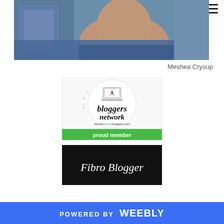[Figure (photo): Profile photo of Meshea Crysup showing close-up face/neck area, blue clothing background]
Meshea Crysup
[Figure (logo): Chronic Illness Bloggers Network badge — circular text 'chronic illness' around laptop logo, 'bloggers network' in script font, 'chronicilnessbloggers.com', green 'proud member' banner]
[Figure (logo): Fibro Blogger logo — script text 'Fibro Blogger' on dark background]
POWERED BY weebly